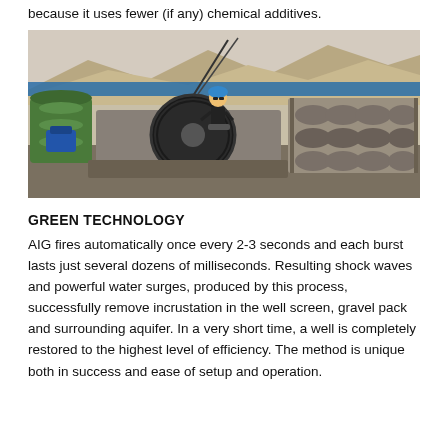because it uses fewer (if any) chemical additives.
[Figure (photo): Outdoor industrial scene in a desert/arid environment. A worker wearing a blue hard hat and dark clothing is seated on or operating heavy machinery in the center. To the left is a large green cylindrical machine with blue motor components. To the right are stacked grey cylindrical well screens or filters on a rack. Blue structural framing is visible in the background, with sandy hills/mountains behind.]
GREEN TECHNOLOGY
AIG fires automatically once every 2-3 seconds and each burst lasts just several dozens of milliseconds. Resulting shock waves and powerful water surges, produced by this process, successfully remove incrustation in the well screen, gravel pack and surrounding aquifer. In a very short time, a well is completely restored to the highest level of efficiency. The method is unique both in success and ease of setup and operation.